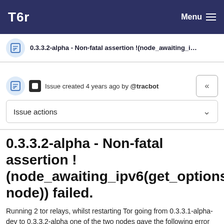Tor — Menu
0.3.3.2-alpha - Non-fatal assertion !(node_awaiting_ipv...
Issue created 4 years ago by @tracbot
Issue actions
0.3.3.2-alpha - Non-fatal assertion !(node_awaiting_ipv6(get_options(), node)) failed.
Running 2 tor relays, whilst restarting Tor going from 0.3.3.1-alpha-dev to 0.3.3.2-alpha one of the two nodes gave the following error for 3 other relays, being: Rea, fury and lowtideceviche.